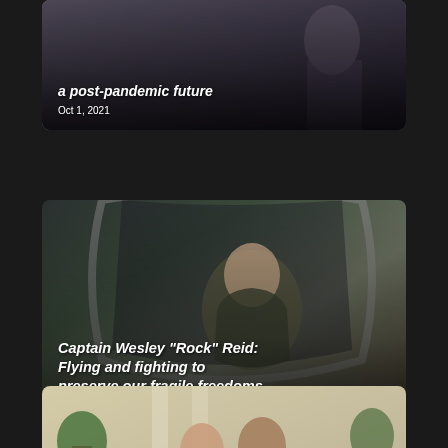[Figure (photo): Top article card showing a partially visible image of a person with text overlay 'a post-pandemic future' and date 'Oct 1, 2021']
a post-pandemic future
Oct 1, 2021
[Figure (photo): Middle article card showing a young man in military flight suit sitting in a cockpit of a military aircraft, smiling]
Captain Wesley "Rock" Reid: Flying and fighting to preserve our fragile freedoms
Jul 1, 2021
[Figure (photo): Bottom article card partially visible, showing two people (a woman and a man) standing in front of a building with columns]